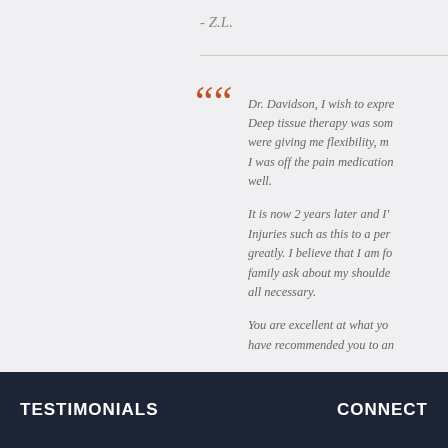- Z.L.
Dr. Davidson, I wish to expre... Deep tissue therapy was som... were giving me flexibility, m... I was off the pain medication... well.

It is now 2 years later and I'... Injuries such as this to a per... greatly. I believe that I am fo... family ask about my shoulde... all necessary.

You are excellent at what yo... have recommended you to an...
- M.M.
TESTIMONIALS    CONNECT
TESTIMONIALS
CONNECT